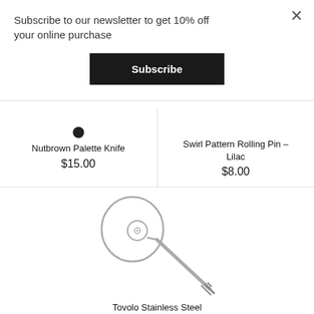Subscribe to our newsletter to get 10% off your online purchase
Subscribe
[Figure (illustration): Small black dot/icon representing top portion of palette knife product image]
Nutbrown Palette Knife
$15.00
Swirl Pattern Rolling Pin – Lilac
$8.00
[Figure (illustration): Tovolo Stainless Steel Dough Whisk illustration showing a round wire whisk head with a long metal handle]
Tovolo Stainless Steel Dough Whisk
$34.00